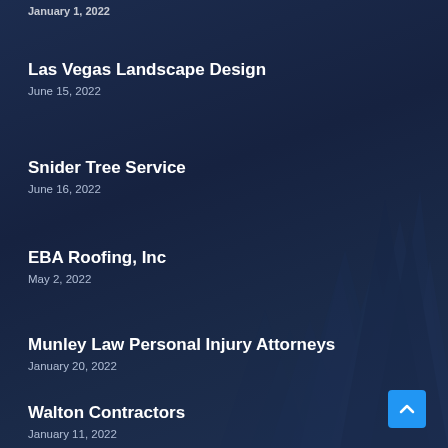January 1, 2022
Las Vegas Landscape Design
June 15, 2022
Snider Tree Service
June 16, 2022
EBA Roofing, Inc
May 2, 2022
Munley Law Personal Injury Attorneys
January 20, 2022
Walton Contractors
January 11, 2022